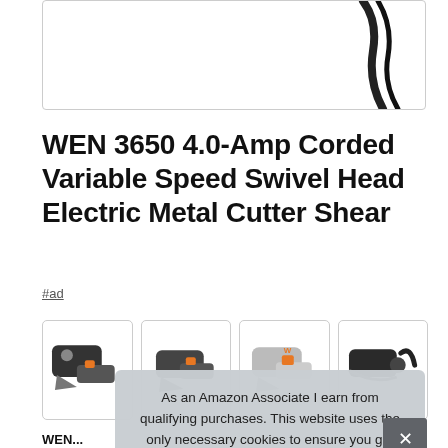[Figure (photo): Partial product photo of WEN 3650 electric metal cutter shear, showing cord/handle at top right]
WEN 3650 4.0-Amp Corded Variable Speed Swivel Head Electric Metal Cutter Shear
#ad
[Figure (photo): Four thumbnail images of the WEN 3650 electric metal cutter shear from different angles]
WEN...
Swi...
any project. Utilizes a powerful 4-amp motor, cutting the metal...
As an Amazon Associate I earn from qualifying purchases. This website uses the only necessary cookies to ensure you get the best experience on our website. More information